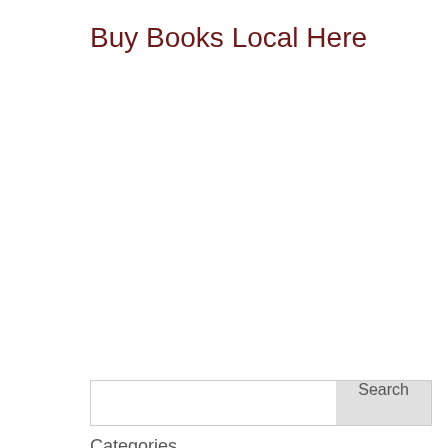Buy Books Local Here
Search
Categories